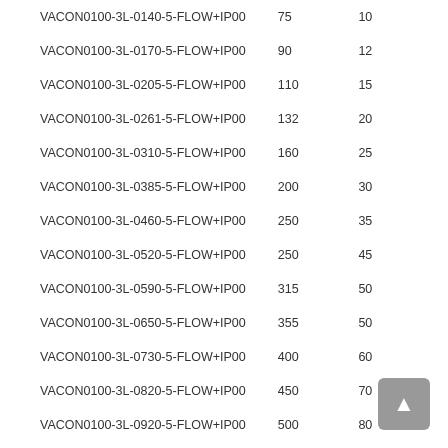| Model | kVA | kW (approx) |
| --- | --- | --- |
| VACON0100-3L-0140-5-FLOW+IP00 | 75 | 10 |
| VACON0100-3L-0170-5-FLOW+IP00 | 90 | 12 |
| VACON0100-3L-0205-5-FLOW+IP00 | 110 | 15 |
| VACON0100-3L-0261-5-FLOW+IP00 | 132 | 20 |
| VACON0100-3L-0310-5-FLOW+IP00 | 160 | 25 |
| VACON0100-3L-0385-5-FLOW+IP00 | 200 | 30 |
| VACON0100-3L-0460-5-FLOW+IP00 | 250 | 35 |
| VACON0100-3L-0520-5-FLOW+IP00 | 250 | 45 |
| VACON0100-3L-0590-5-FLOW+IP00 | 315 | 50 |
| VACON0100-3L-0650-5-FLOW+IP00 | 355 | 50 |
| VACON0100-3L-0730-5-FLOW+IP00 | 400 | 60 |
| VACON0100-3L-0820-5-FLOW+IP00 | 450 | 70 |
| VACON0100-3L-0920-5-FLOW+IP00 | 500 | 80 |